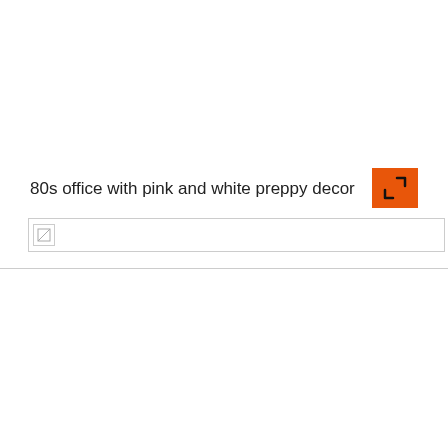80s office with pink and white preppy decor
[Figure (screenshot): Broken image placeholder thumbnail with gray border]
We use cookies on our website to give you the most relevant experience by remembering your preferences and repeat visits. By clicking "Accept All", you consent to the use of ALL the cookies. However, you may visit "Cookie Settings" to provide a controlled consent.
Cookie Settings
Accept All